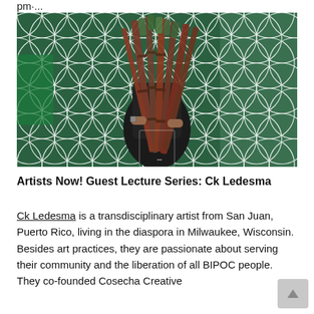pm·­...
[Figure (photo): A person standing in front of a decorative green geometric grid/lattice wall panel, holding a large bundle of sugarcane stalks that obscure their face. The person wears a black t-shirt.]
Artists Now! Guest Lecture Series: Ck Ledesma
Ck Ledesma is a transdisciplinary artist from San Juan, Puerto Rico, living in the diaspora in Milwaukee, Wisconsin. Besides art practices, they are passionate about serving their community and the liberation of all BIPOC people. They co-founded Cosecha Creative